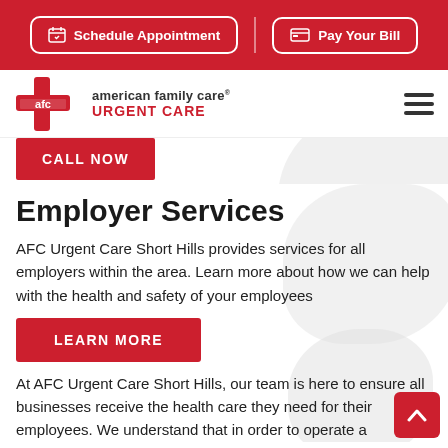Schedule Appointment | Pay Your Bill
[Figure (logo): AFC American Family Care Urgent Care logo]
CALL NOW
Employer Services
AFC Urgent Care Short Hills provides services for all employers within the area. Learn more about how we can help with the health and safety of your employees
LEARN MORE
At AFC Urgent Care Short Hills, our team is here to ensure all businesses receive the health care they need for their employees. We understand that in order to operate a